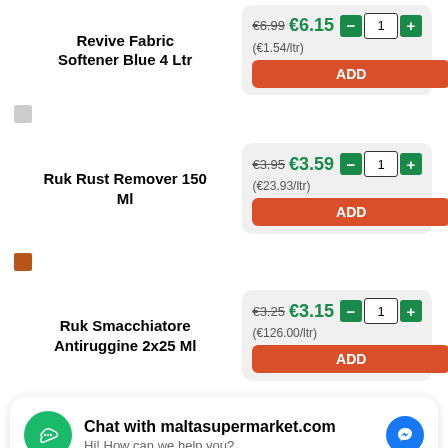Revive Fabric Softener Blue 4 Ltr
€6.99 €6.15 (€1.54/ltr) ADD
Ruk Rust Remover 150 Ml
€3.95 €3.59 (€23.93/ltr) ADD
Ruk Smacchiatore Antiruggine 2x25 Ml
€3.25 €3.15 (€126.00/ltr) ADD
Chat with maltasupermarket.com
Hi! How can we help you?
€5.65